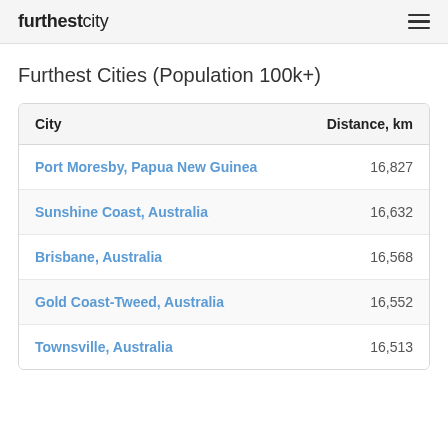furthestcity
Furthest Cities (Population 100k+)
| City | Distance, km |
| --- | --- |
| Port Moresby, Papua New Guinea | 16,827 |
| Sunshine Coast, Australia | 16,632 |
| Brisbane, Australia | 16,568 |
| Gold Coast-Tweed, Australia | 16,552 |
| Townsville, Australia | 16,513 |